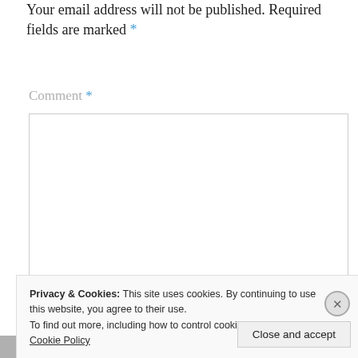Your email address will not be published. Required fields are marked *
Comment *
[Figure (screenshot): Empty comment text area input box with light border]
Privacy & Cookies: This site uses cookies. By continuing to use this website, you agree to their use. To find out more, including how to control cookies, see here: Cookie Policy
Close and accept